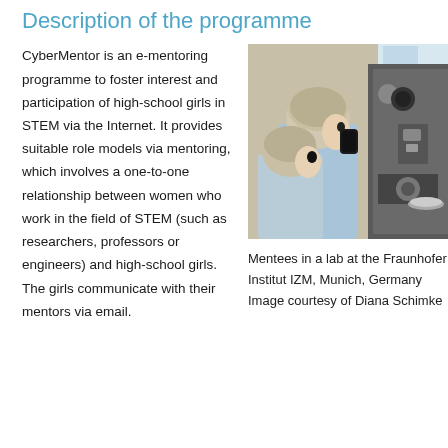Description of the programme
CyberMentor is an e-mentoring programme to foster interest and participation of high-school girls in STEM via the Internet. It provides suitable role models via mentoring, which involves a one-to-one relationship between women who work in the field of STEM (such as researchers, professors or engineers) and high-school girls. The girls communicate with their mentors via email.
[Figure (photo): Two young women in lab coats and hair nets looking through a microscope at the Fraunhofer Institut IZM, Munich, Germany]
Mentees in a lab at the Fraunhofer Institut IZM, Munich, Germany Image courtesy of Diana Schimke